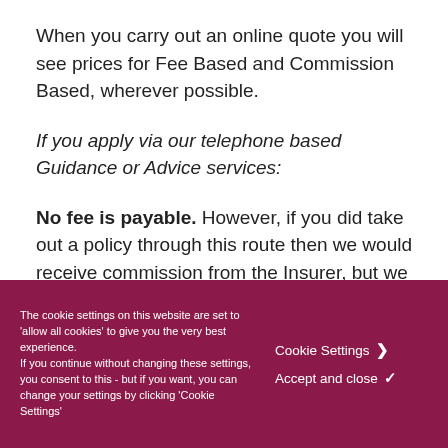When you carry out an online quote you will see prices for Fee Based and Commission Based, wherever possible.
If you apply via our telephone based Guidance or Advice services:
No fee is payable. However, if you did take out a policy through this route then we would receive commission from the Insurer, but we do
The cookie settings on this website are set to 'allow all cookies' to give you the very best experience.
If you continue without changing these settings, you consent to this - but if you want, you can change your settings by clicking 'Cookie Settings'
Cookie Settings
Accept and close